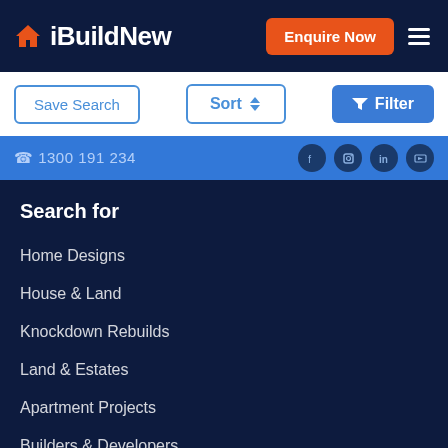iBuildNew — Enquire Now navigation bar
Save Search | Sort | Filter
1300 191 234 (phone bar with social icons)
Search for
Home Designs
House & Land
Knockdown Rebuilds
Land & Estates
Apartment Projects
Builders & Developers
Building Professionals